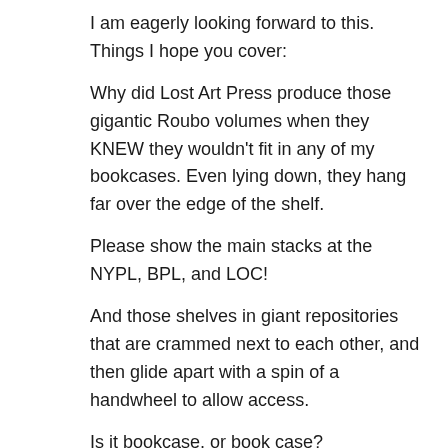I am eagerly looking forward to this. Things I hope you cover:
Why did Lost Art Press produce those gigantic Roubo volumes when they KNEW they wouldn't fit in any of my bookcases. Even lying down, they hang far over the edge of the shelf.
Please show the main stacks at the NYPL, BPL, and LOC!
And those shelves in giant repositories that are crammed next to each other, and then glide apart with a spin of a handwheel to allow access.
Is it bookcase, or book case?
Loading...